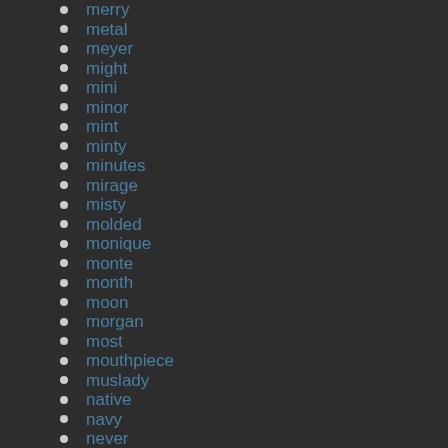merry
metal
meyer
might
mini
minor
mint
minty
minutes
mirage
misty
molded
monique
monte
month
moon
morgan
most
mouthpiece
muslady
native
navy
never